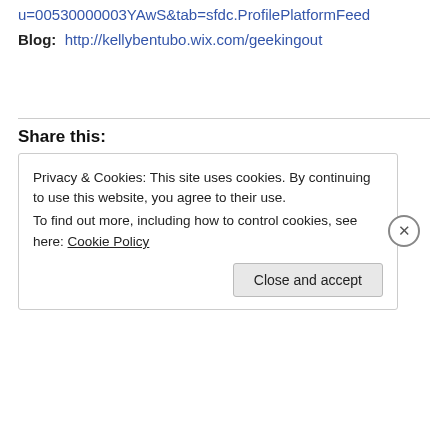u=00530000003YAwS&tab=sfdc.ProfilePlatformFeed
Blog:  http://kellybentubo.wix.com/geekingout
Share this:
Privacy & Cookies: This site uses cookies. By continuing to use this website, you agree to their use.
To find out more, including how to control cookies, see here: Cookie Policy
Close and accept